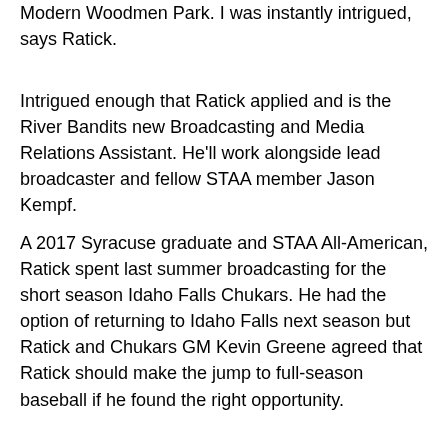Modern Woodmen Park. I was instantly intrigued, says Ratick.
Intrigued enough that Ratick applied and is the River Bandits new Broadcasting and Media Relations Assistant. He'll work alongside lead broadcaster and fellow STAA member Jason Kempf.
A 2017 Syracuse graduate and STAA All-American, Ratick spent last summer broadcasting for the short season Idaho Falls Chukars. He had the option of returning to Idaho Falls next season but Ratick and Chukars GM Kevin Greene agreed that Ratick should make the jump to full-season baseball if he found the right opportunity.